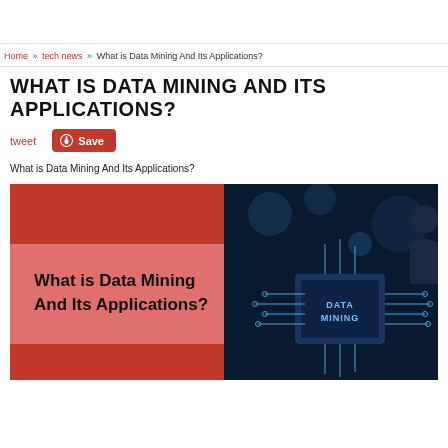Home » tech news » What is Data Mining And Its Applications?
WHAT IS DATA MINING AND ITS APPLICATIONS?
tweet   Save
What is Data Mining And Its Applications?
[Figure (photo): Feature image showing 'What is Data Mining And Its Applications?' with a red/pink background on the left half and a dark blue circuit board chip labeled DATA MINING on the right half]